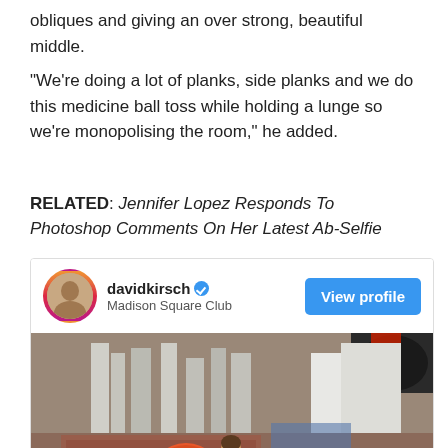obliques and giving an over strong, beautiful middle.
“We’re doing a lot of planks, side planks and we do this medicine ball toss while holding a lunge so we’re monopolising the room,” he added.
RELATED: Jennifer Lopez Responds To Photoshop Comments On Her Latest Ab-Selfie
[Figure (screenshot): Instagram embed showing davidkirsch (Madison Square Club) with a View profile button and a gym photo of a woman with a medicine ball.]